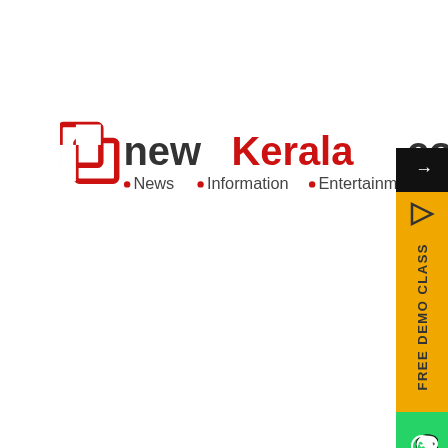[Figure (logo): newKerala.com logo with red interlocking square icons, text 'new' in dark gray, 'Kerala' in red, '.com' in dark gray, and subtitle '.News .Information .Entertainment' in dark gray and red dots]
[Figure (screenshot): Right-side floating widget panel showing: black arrow button at top, yellow 'FREE DEMO CLASS' vertical text button, green WhatsApp icon button, blue Facebook icon button]